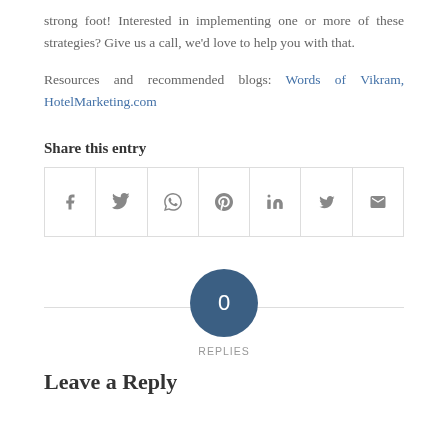strong foot! Interested in implementing one or more of these strategies? Give us a call, we'd love to help you with that.
Resources and recommended blogs: Words of Vikram, HotelMarketing.com
Share this entry
[Figure (infographic): Social sharing icons row: Facebook, Twitter, WhatsApp, Pinterest, LinkedIn, Tumblr, Email]
[Figure (infographic): Circle badge showing 0 REPLIES]
Leave a Reply